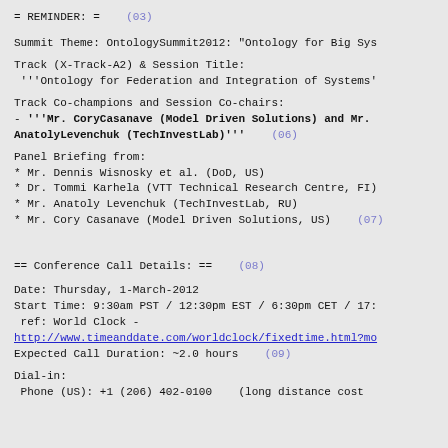= REMINDER: =  (03)
Summit Theme: OntologySummit2012: "Ontology for Big Sys
Track (X-Track-A2) & Session Title:
 '''Ontology for Federation and Integration of Systems'
Track Co-champions and Session Co-chairs:
- '''Mr. CoryCasanave (Model Driven Solutions) and Mr. AnatolyLevenchuk (TechInvestLab)'''  (06)
Panel Briefing from:
* Mr. Dennis Wisnosky et al. (DoD, US)
* Dr. Tommi Karhela (VTT Technical Research Centre, FI)
* Mr. Anatoly Levenchuk (TechInvestLab, RU)
* Mr. Cory Casanave (Model Driven Solutions, US)  (07)
== Conference Call Details: ==  (08)
Date: Thursday, 1-March-2012
Start Time: 9:30am PST / 12:30pm EST / 6:30pm CET / 17:
 ref: World Clock -
http://www.timeanddate.com/worldclock/fixedtime.html?mo
Expected Call Duration: ~2.0 hours  (09)
Dial-in:
 -Phone (US): +1 (206) 402-0100    (long distance cost